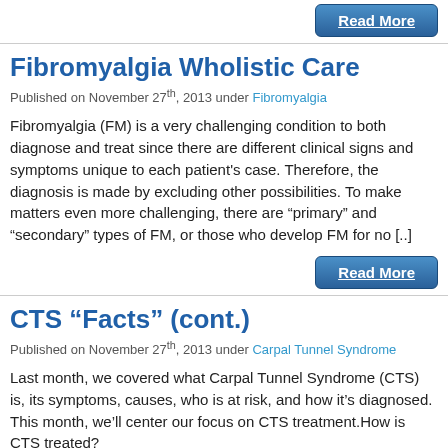Read More
Fibromyalgia Wholistic Care
Published on November 27th, 2013 under Fibromyalgia
Fibromyalgia (FM) is a very challenging condition to both diagnose and treat since there are different clinical signs and symptoms unique to each patient's case. Therefore, the diagnosis is made by excluding other possibilities. To make matters even more challenging, there are “primary” and “secondary” types of FM, or those who develop FM for no [..]
Read More
CTS “Facts” (cont.)
Published on November 27th, 2013 under Carpal Tunnel Syndrome
Last month, we covered what Carpal Tunnel Syndrome (CTS) is, its symptoms, causes, who is at risk, and how it’s diagnosed. This month, we’ll center our focus on CTS treatment.How is CTS treated?